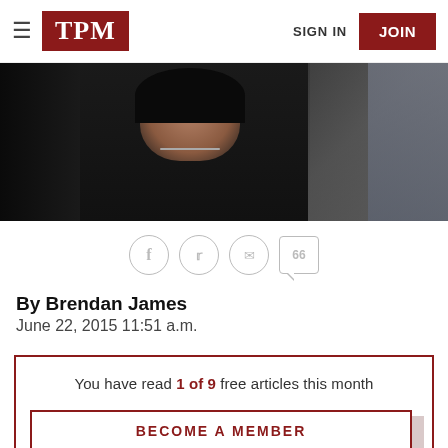TPM — SIGN IN — JOIN
[Figure (photo): Photo of a woman with dark hair wearing a black outfit with a necklace, outdoors with other people in the background]
[Figure (infographic): Social sharing icons: Facebook, Twitter, Email, and Comments (66)]
By Brendan James
June 22, 2015 11:51 a.m.
You have read 1 of 9 free articles this month
BECOME A MEMBER
South Carolina Gov. Nikki Haley (R) is putting